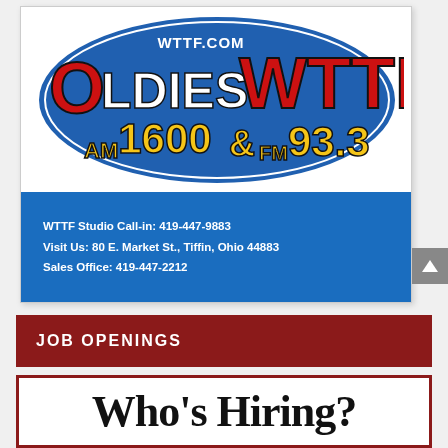[Figure (logo): WTTF Oldies radio station logo — blue oval with 'WTTF.COM OLDIES WTTF AM1600 & FM93.3' text in red, white, and gold on blue background, followed by contact information panel in blue: 'WTTF Studio Call-in: 419-447-9883', 'Visit Us: 80 E. Market St., Tiffin, Ohio 44883', 'Sales Office: 419-447-2212']
JOB OPENINGS
Who's Hiring?